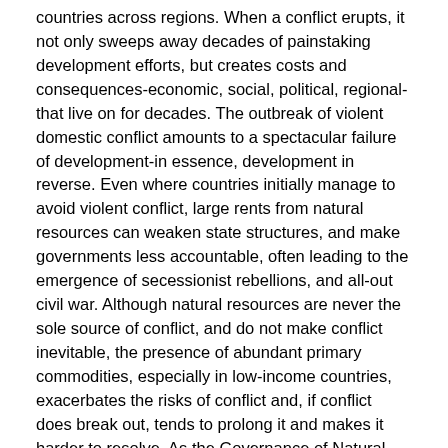countries across regions. When a conflict erupts, it not only sweeps away decades of painstaking development efforts, but creates costs and consequences-economic, social, political, regional-that live on for decades. The outbreak of violent domestic conflict amounts to a spectacular failure of development-in essence, development in reverse. Even where countries initially manage to avoid violent conflict, large rents from natural resources can weaken state structures, and make governments less accountable, often leading to the emergence of secessionist rebellions, and all-out civil war. Although natural resources are never the sole source of conflict, and do not make conflict inevitable, the presence of abundant primary commodities, especially in low-income countries, exacerbates the risks of conflict and, if conflict does break out, tends to prolong it and makes it harder to resolve. As the Governance of Natural Resources Project (a research project) took shape, the